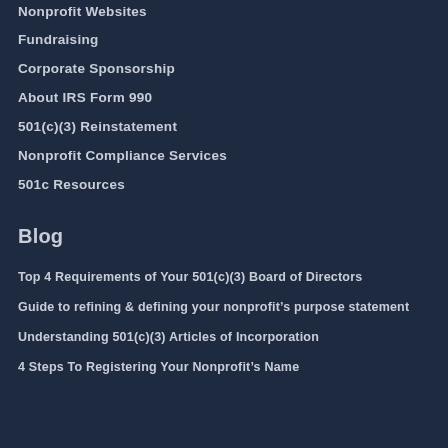Nonprofit Websites
Fundraising
Corporate Sponsorship
About IRS Form 990
501(c)(3) Reinstatement
Nonprofit Compliance Services
501c Resources
Blog
Top 4 Requirements of Your 501(c)(3) Board of Directors
Guide to refining & defining your nonprofit’s purpose statement
Understanding 501(c)(3) Articles of Incorporation
4 Steps To Registering Your Nonprofit’s Name